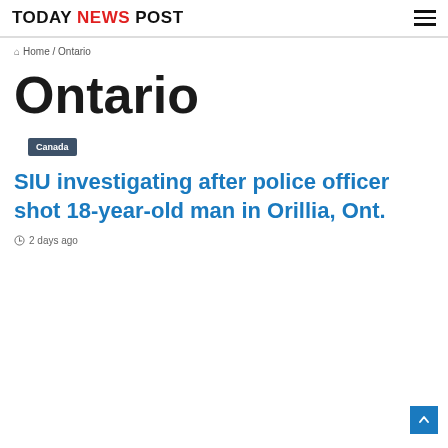TODAY NEWS POST
Home / Ontario
Ontario
Canada
SIU investigating after police officer shot 18-year-old man in Orillia, Ont.
2 days ago